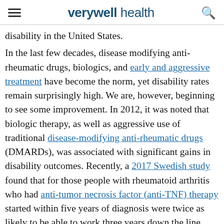verywell health
disability in the United States.
In the last few decades, disease modifying anti-rheumatic drugs, biologics, and early and aggressive treatment have become the norm, yet disability rates remain surprisingly high. We are, however, beginning to see some improvement. In 2012, it was noted that biologic therapy, as well as aggressive use of traditional disease-modifying anti-rheumatic drugs (DMARDs), was associated with significant gains in disability outcomes. Recently, a 2017 Swedish study found that for those people with rheumatoid arthritis who had anti-tumor necrosis factor (anti-TNF) therapy started within five years of diagnosis were twice as likely to be able to work three years down the line.